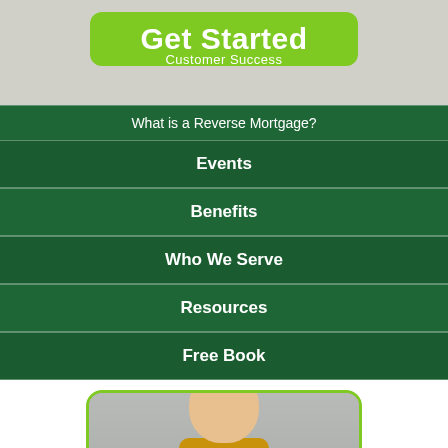[Figure (screenshot): Website navigation screenshot showing a green 'Get Started' button, 'Customer Success' label, and green navigation menu items including 'What is a Reverse Mortgage?', 'Events', 'Benefits', 'Who We Serve', 'Resources', 'Free Book', followed by a photo of a smiling blonde woman]
Get Started
Customer Success
What is a Reverse Mortgage?
Events
Benefits
Who We Serve
Resources
Free Book